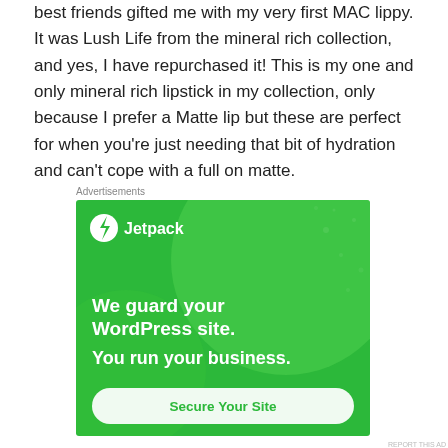best friends gifted me with my very first MAC lippy. It was Lush Life from the mineral rich collection, and yes, I have repurchased it! This is my one and only mineral rich lipstick in my collection, only because I prefer a Matte lip but these are perfect for when you're just needing that bit of hydration and can't cope with a full on matte.
Advertisements
[Figure (illustration): Jetpack advertisement on green background with large decorative circles, Jetpack logo and name at top left, bold white text reading 'We guard your WordPress site. You run your business.' and a white rounded button reading 'Secure Your Site']